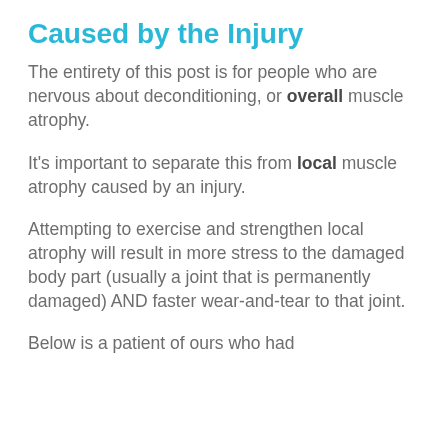Caused by the Injury
The entirety of this post is for people who are nervous about deconditioning, or overall muscle atrophy.
It's important to separate this from local muscle atrophy caused by an injury.
Attempting to exercise and strengthen local atrophy will result in more stress to the damaged body part (usually a joint that is permanently damaged) AND faster wear-and-tear to that joint.
Below is a patient of ours who had